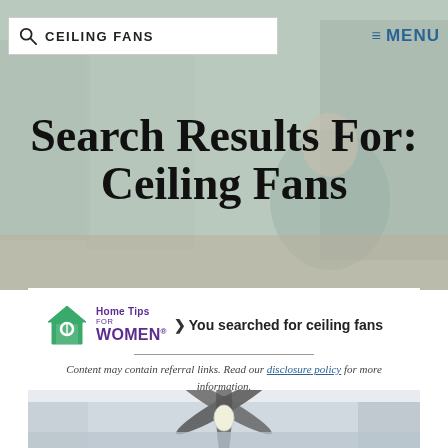[Figure (photo): Background photo of a woman sitting cross-legged on a construction site floor surrounded by building materials and framing]
CEILING FANS | MENU
Search Results For: Ceiling Fans
[Figure (logo): Home Tips for Women logo — green house icon with purple text]
> You searched for ceiling fans
Content may contain referral links. Read our disclosure policy for more information.
[Figure (photo): Photo of a ceiling fan with light fixture mounted on a white ceiling]